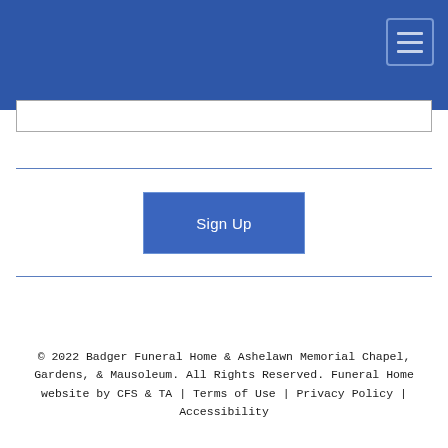Sign Up
© 2022 Badger Funeral Home & Ashelawn Memorial Chapel, Gardens, & Mausoleum. All Rights Reserved. Funeral Home website by CFS & TA | Terms of Use | Privacy Policy | Accessibility